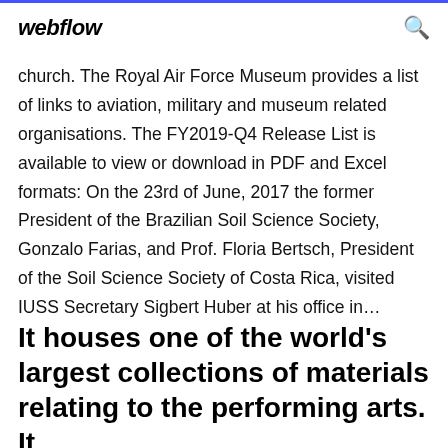webflow
church. The Royal Air Force Museum provides a list of links to aviation, military and museum related organisations. The FY2019-Q4 Release List is available to view or download in PDF and Excel formats: On the 23rd of June, 2017 the former President of the Brazilian Soil Science Society, Gonzalo Farias, and Prof. Floria Bertsch, President of the Soil Science Society of Costa Rica, visited IUSS Secretary Sigbert Huber at his office in…
It houses one of the world's largest collections of materials relating to the performing arts. It